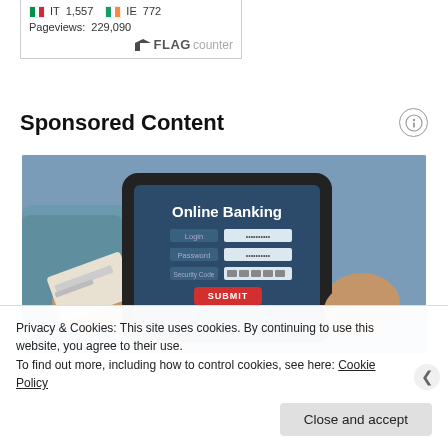[Figure (other): Flag counter widget showing IT 1,557 and IE 772 flags, Pageviews: 229,090, FLAG counter logo]
Sponsored Content
[Figure (photo): Person holding a credit card in front of a tablet showing an Online Banking login screen with Login, Password, Security Code fields and a SUBMIT button]
Privacy & Cookies: This site uses cookies. By continuing to use this website, you agree to their use.
To find out more, including how to control cookies, see here: Cookie Policy
Close and accept